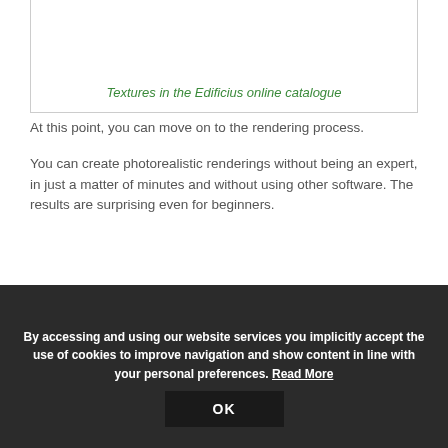Textures in the Edificius online catalogue
At this point, you can move on to the rendering process.
You can create photorealistic renderings without being an expert, in just a matter of minutes and without using other software. The results are surprising even for beginners.
[Figure (logo): Edificius logo in large yellow bold text with dark outline on a light grey background]
By accessing and using our website services you implicitly accept the use of cookies to improve navigation and show content in line with your personal preferences. Read More